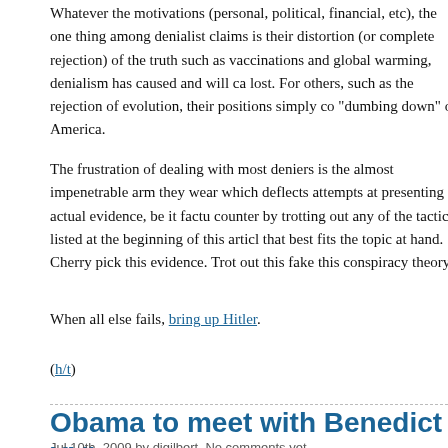Whatever the motivations (personal, political, financial, etc), the one thing among denialist claims is their distortion (or complete rejection) of the truth such as vaccinations and global warming, denialism has caused and will ca lost. For others, such as the rejection of evolution, their positions simply co “dumbing down” of America.
The frustration of dealing with most deniers is the almost impenetrable arm they wear which deflects attempts at presenting actual evidence, be it factu counter by trotting out any of the tactics listed at the beginning of this articl that best fits the topic at hand. Cherry pick this evidence. Trot out this fake this conspiracy theory.
When all else fails, bring up Hitler.
(h/t)
Obama to meet with Benedict XVI
Jul 10th, 2009 by digilbert. No comments yet
[Figure (photo): Two photos side by side: left shows President Obama, right shows Pope Benedict XVI (elderly man in white). Partial image cut off at bottom of page.]
President Obama is meet with Pope Be don’t know if anyth